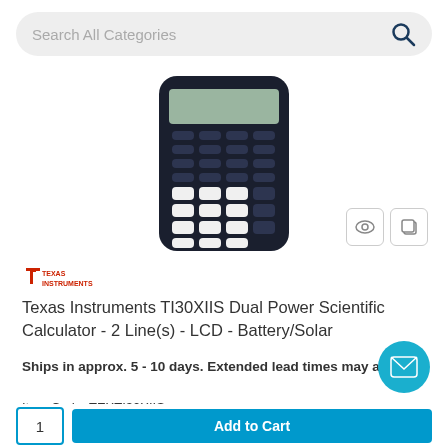Search All Categories
[Figure (photo): Texas Instruments TI-30XIIS scientific calculator, dark blue/black color, showing keypad with multiple function keys]
[Figure (logo): Texas Instruments logo in red]
Texas Instruments TI30XIIS Dual Power Scientific Calculator - 2 Line(s) - LCD - Battery/Solar
Ships in approx. 5 - 10 days. Extended lead times may apply.
Item Code: TEXTI30XIIS
Category: Graphing & Scientific Calculators
$15.79 / EA